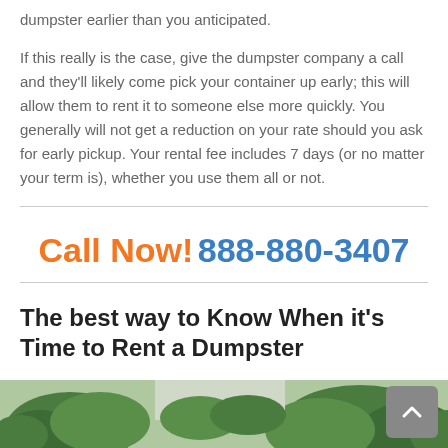dumpster earlier than you anticipated.
If this really is the case, give the dumpster company a call and they'll likely come pick your container up early; this will allow them to rent it to someone else more quickly. You generally will not get a reduction on your rate should you ask for early pickup. Your rental fee includes 7 days (or no matter your term is), whether you use them all or not.
Call Now! 888-880-3407
The best way to Know When it's Time to Rent a Dumpster
[Figure (photo): Outdoor scene with trees visible at the bottom of the page]